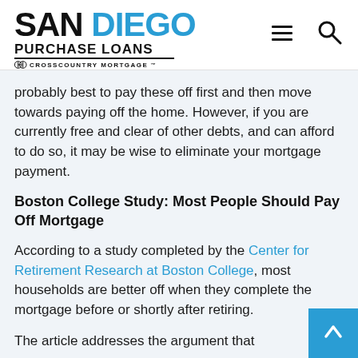SAN DIEGO PURCHASE LOANS — CrossCountry Mortgage
probably best to pay these off first and then move towards paying off the home. However, if you are currently free and clear of other debts, and can afford to do so, it may be wise to eliminate your mortgage payment.
Boston College Study: Most People Should Pay Off Mortgage
According to a study completed by the Center for Retirement Research at Boston College, most households are better off when they complete the mortgage before or shortly after retiring.
The article addresses the argument that